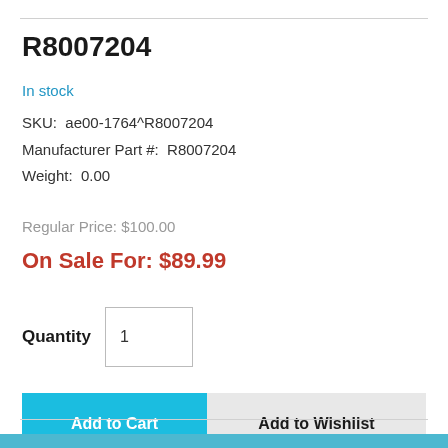R8007204
In stock
SKU:  ae00-1764^R8007204
Manufacturer Part #:  R8007204
Weight:  0.00
Regular Price: $100.00
On Sale For: $89.99
Quantity  1
Add to Cart
Add to Wishlist